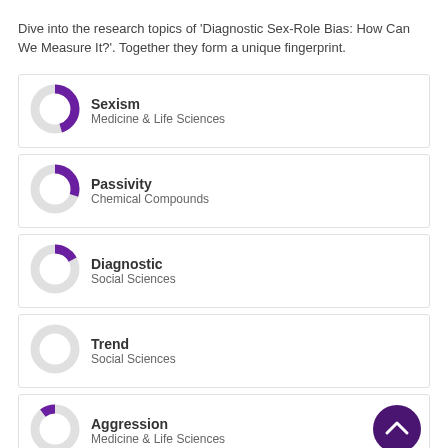Dive into the research topics of 'Diagnostic Sex-Role Bias: How Can We Measure It?'. Together they form a unique fingerprint.
[Figure (donut-chart): Donut chart showing topic weight for Sexism, Medicine & Life Sciences, approximately 70% filled purple]
Sexism
Medicine & Life Sciences
[Figure (donut-chart): Donut chart showing topic weight for Passivity, Chemical Compounds, approximately 55% filled purple]
Passivity
Chemical Compounds
[Figure (donut-chart): Donut chart showing topic weight for Diagnostic, Social Sciences, approximately 45% filled purple]
Diagnostic
Social Sciences
[Figure (donut-chart): Donut chart showing topic weight for Trend, Social Sciences, approximately 25% filled purple]
Trend
Social Sciences
[Figure (donut-chart): Donut chart showing topic weight for Aggression, Medicine & Life Sciences, approximately 15% filled purple]
Aggression
Medicine & Life Sciences